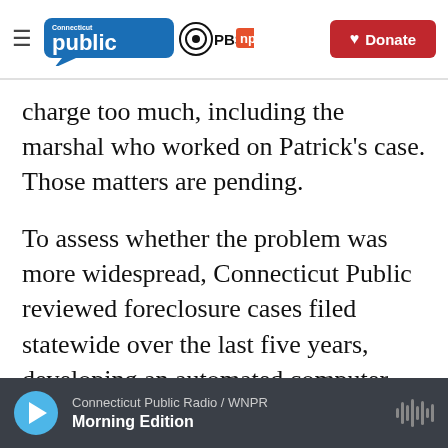Connecticut Public PBS NPR — Donate
charge too much, including the marshal who worked on Patrick's case. Those matters are pending.
To assess whether the problem was more widespread, Connecticut Public reviewed foreclosure cases filed statewide over the last five years, developing an automated computer process to gather the documents and record the fees marshals charged for service – the portion of the marshal's bill that corresponds with the number of defendants who were served legal paperwork.
Connecticut Public Radio / WNPR — Morning Edition